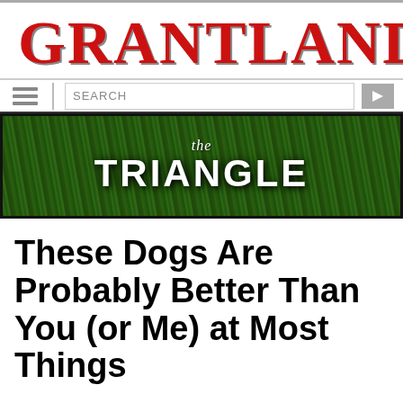GRANTLAND
[Figure (screenshot): Navigation bar with hamburger menu, search box, and arrow button]
[Figure (photo): The Triangle banner image with green grass background and white text reading 'the TRIANGLE']
These Dogs Are Probably Better Than You (or Me) at Most Things